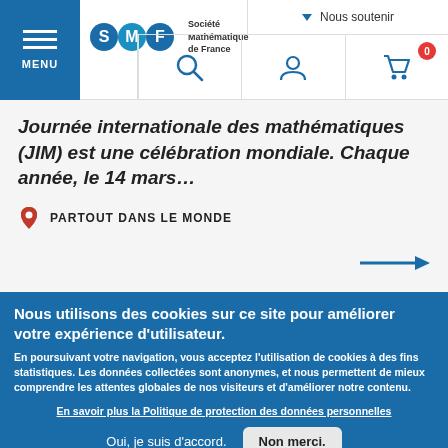SMF - Société Mathématique de France — Navigation bar with MENU, logo, Nous soutenir, search, user, cart (0)
Journée internationale des mathématiques (JIM) est une célébration mondiale. Chaque année, le 14 mars…
PARTOUT DANS LE MONDE
Nous utilisons des cookies sur ce site pour améliorer votre expérience d'utilisateur.
En poursuivant votre navigation, vous acceptez l'utilisation de cookies à des fins statistiques. Les données collectées sont anonymes, et nous permettent de mieux comprendre les attentes globales de nos visiteurs et d'améliorer notre contenu.
En savoir plus la Politique de protection des données personnelles
Oui, je suis d'accord.    Non merci.